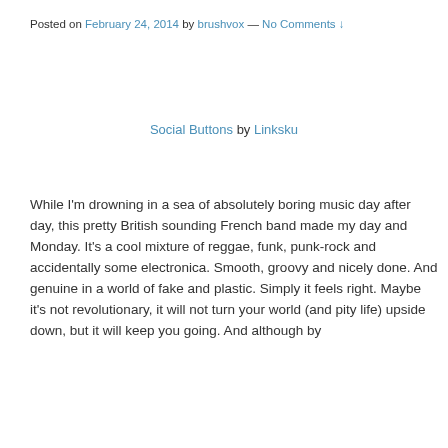Posted on February 24, 2014 by brushvox — No Comments ↓
Social Buttons by Linksku
While I'm drowning in a sea of absolutely boring music day after day, this pretty British sounding French band made my day and Monday. It's a cool mixture of reggae, funk, punk-rock and accidentally some electronica. Smooth, groovy and nicely done. And genuine in a world of fake and plastic. Simply it feels right. Maybe it's not revolutionary, it will not turn your world (and pity life) upside down, but it will keep you going. And although by